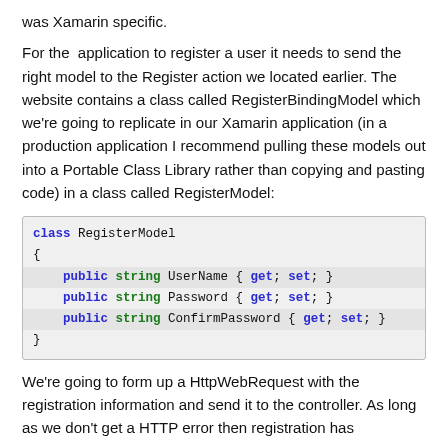was Xamarin specific.
For the application to register a user it needs to send the right model to the Register action we located earlier. The website contains a class called RegisterBindingModel which we're going to replicate in our Xamarin application (in a production application I recommend pulling these models out into a Portable Class Library rather than copying and pasting code) in a class called RegisterModel:
class RegisterModel
{
    public string UserName { get; set; }
    public string Password { get; set; }
    public string ConfirmPassword { get; set; }
}
We're going to form up a HttpWebRequest with the registration information and send it to the controller. As long as we don't get a HTTP error then registration has